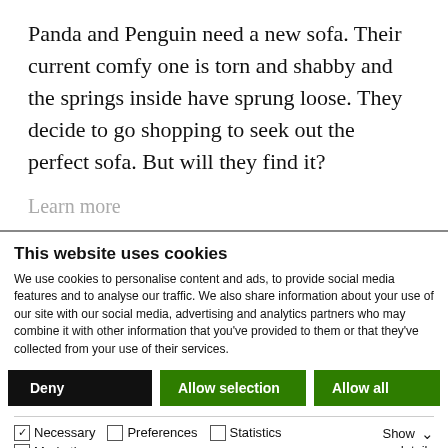Panda and Penguin need a new sofa. Their current comfy one is torn and shabby and the springs inside have sprung loose. They decide to go shopping to seek out the perfect sofa. But will they find it?
Learn more
This website uses cookies
We use cookies to personalise content and ads, to provide social media features and to analyse our traffic. We also share information about your use of our site with our social media, advertising and analytics partners who may combine it with other information that you've provided to them or that they've collected from your use of their services.
Deny | Allow selection | Allow all
Necessary | Preferences | Statistics | Marketing | Show details